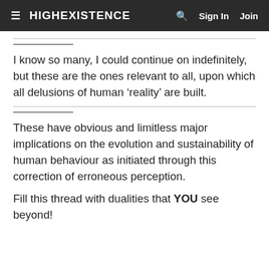≡ HIGHEXISTENCE   🔍   Sign In   Join
I know so many, I could continue on indefinitely, but these are the ones relevant to all, upon which all delusions of human ‘reality’ are built.
These have obvious and limitless major implications on the evolution and sustainability of human behaviour as initiated through this correction of erroneous perception.
Fill this thread with dualities that YOU see beyond!